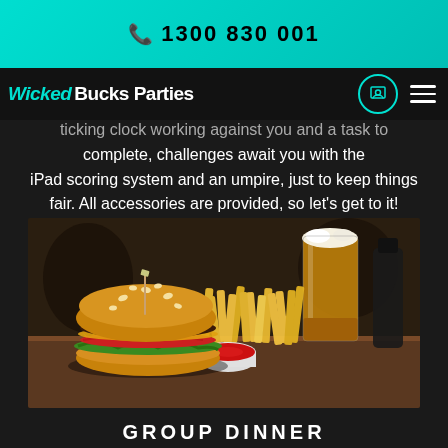1300 830 001
Wicked Bucks Parties
ticking clock working against you and a task to complete, challenges await you with the iPad scoring system and an umpire, just to keep things fair. All accessories are provided, so let's get to it!
[Figure (photo): A burger with sesame seed bun, lettuce, tomato, cheese, patty, served alongside a large portion of fries, a tall glass of golden beer, and a small cup of tomato sauce on a wooden table.]
GROUP DINNER